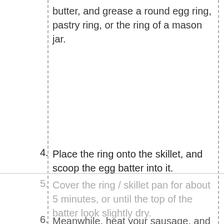butter, and grease a round egg ring, pastry ring, or the ring of a mason jar.
4. Place the ring onto the skillet, and scoop the egg batter into it.
5. Cover the ring / skillet pan for about 5 minutes, or until the top of the batter look slightly dry.
6. Meanwhile, heat your sausage, and toast